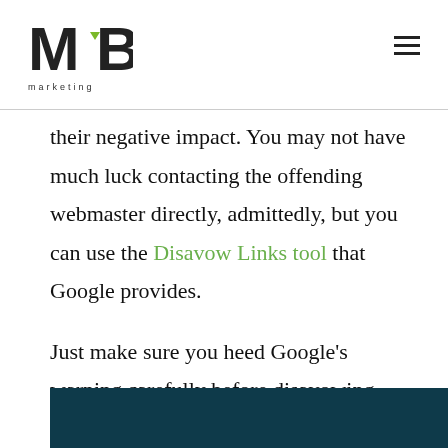MB3 marketing
their negative impact. You may not have much luck contacting the offending webmaster directly, admittedly, but you can use the Disavow Links tool that Google provides.
Just make sure you heed Google's warning carefully before disavowing backlinks.
[Figure (photo): Dark teal/blue toned photo strip at the bottom of the page]